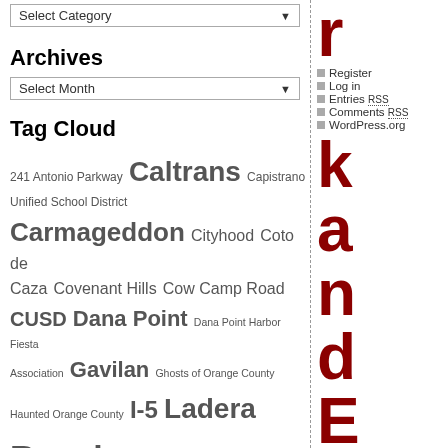Select Category (dropdown)
Archives
Select Month (dropdown)
Tag Cloud
241 Antonio Parkway Caltrans Capistrano Unified School District Carmageddon Cityhood Coto de Caza Covenant Hills Cow Camp Road CUSD Dana Point Dana Point Harbor Fiesta Association Gavilan Ghosts of Orange County Haunted Orange County I-5 Ladera Ranch Ladera Ranch Civic Council LAFCO La Pata Avenue La Pata Gap Closure Las Flores Los Rios Street Mission San Juan Capistrano Mission Viejo OCTA Orange County Board of Supervisors Ortega Highway Planning Area 1 Planning Area 2
Register
Log in
Entries RSS
Comments RSS
WordPress.org